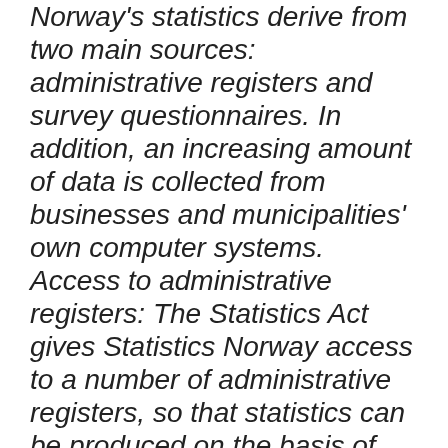Norway's statistics derive from two main sources: administrative registers and survey questionnaires. In addition, an increasing amount of data is collected from businesses and municipalities' own computer systems. Access to administrative registers: The Statistics Act gives Statistics Norway access to a number of administrative registers, so that statistics can be produced on the basis of figures that already exist. At present, Statistics Norway uses around 60 such registers. The three core registers are the